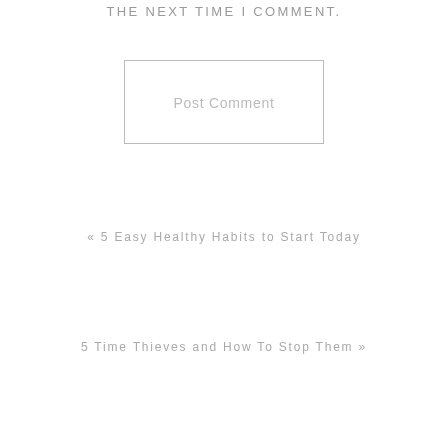THE NEXT TIME I COMMENT.
Post Comment
« 5 Easy Healthy Habits to Start Today
5 Time Thieves and How To Stop Them »